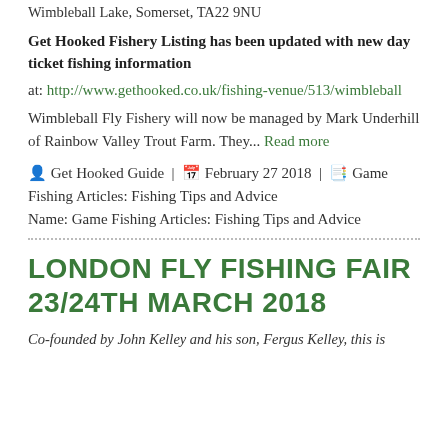Wimbleball Lake, Somerset, TA22 9NU
Get Hooked Fishery Listing has been updated with new day ticket fishing information at: http://www.gethooked.co.uk/fishing-venue/513/wimbleball
Wimbleball Fly Fishery will now be managed by Mark Underhill of Rainbow Valley Trout Farm. They... Read more
👤 Get Hooked Guide | 📅 February 27 2018 | 📋 Game Fishing Articles: Fishing Tips and Advice
Name: Game Fishing Articles: Fishing Tips and Advice
LONDON FLY FISHING FAIR 23/24TH MARCH 2018
Co-founded by John Kelley and his son, Fergus Kelley, this is